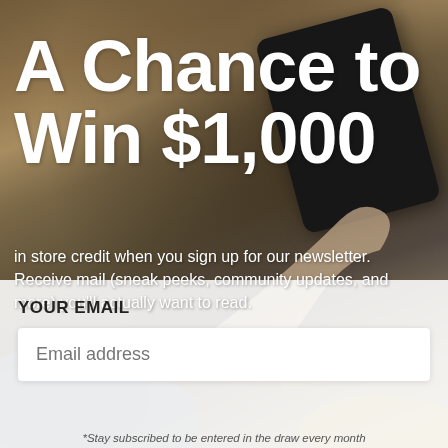[Figure (photo): Background photo of a person sitting in a chair holding a tablet/e-reader, warm brown/tan tones with wooden furniture visible.]
A Chance to Win $1,000
in store credit when you sign up for our newsletter. Receive mail (sneak peeks, community updates, and more) you'll actually want to read.
YOUR EMAIL
Email address
*Stay subscribed to be entered in the draw every month